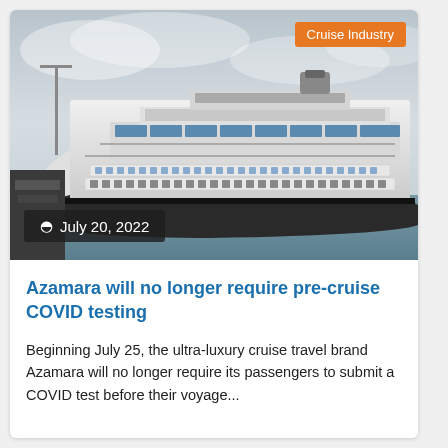[Figure (photo): Large white cruise ship docked at port with cloudy sky in background]
Cruise Industry
July 20, 2022
Azamara will no longer require pre-cruise COVID testing
Beginning July 25, the ultra-luxury cruise travel brand Azamara will no longer require its passengers to submit a COVID test before their voyage...